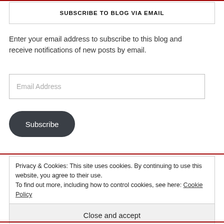SUBSCRIBE TO BLOG VIA EMAIL
Enter your email address to subscribe to this blog and receive notifications of new posts by email.
Email Address
Subscribe
Privacy & Cookies: This site uses cookies. By continuing to use this website, you agree to their use.
To find out more, including how to control cookies, see here: Cookie Policy
Close and accept